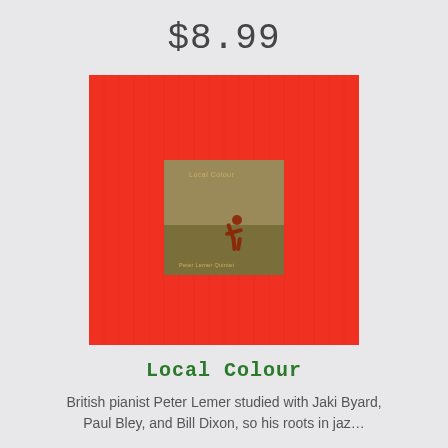$8.99
[Figure (illustration): Album cover for 'Local Colour' by Peter Lemer. Bright red/orange textured background with a smaller inset square image in the center showing a figure on a brown/green grassy field. Text 'Local Colour' appears in small print within the inset image, and 'Peter Lemer Quintet' below it.]
Local Colour
British pianist Peter Lemer studied with Jaki Byard, Paul Bley, and Bill Dixon, so his roots in jaz…
$8.99